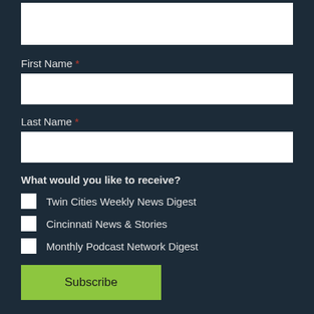[Figure (screenshot): Input field at top (partial, cropped), appears to be an email or name field input box]
First Name *
[Figure (screenshot): First Name text input field (white rectangle)]
Last Name *
[Figure (screenshot): Last Name text input field (white rectangle)]
What would you like to receive?
Twin Cities Weekly News Digest
Cincinnati News & Stories
Monthly Podcast Network Digest
Subscribe